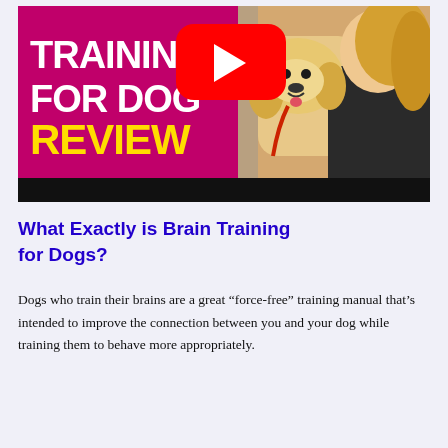[Figure (screenshot): YouTube video thumbnail for 'Brain Training for Dogs Review' showing white bold text 'TRAINING FOR DOGS' and yellow bold text 'REVIEW' on magenta/purple background, a YouTube play button overlay, and a smiling woman with a golden retriever dog on the right side. Black letterbox bar at bottom.]
What Exactly is Brain Training for Dogs?
Dogs who train their brains are a great “force-free” training manual that’s intended to improve the connection between you and your dog while training them to behave more appropriately.